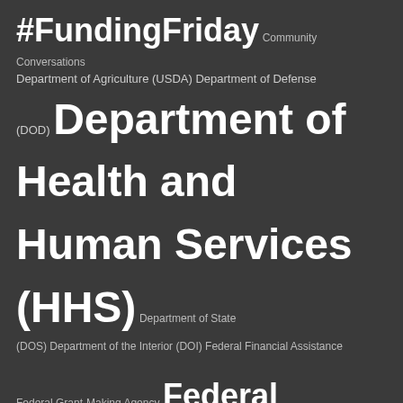[Figure (infographic): Tag cloud of government grant-related terms on a dark gray background. Larger text indicates more frequent/important terms. Terms include: #FundingFriday, Community Conversations, Department of Agriculture (USDA), Department of Defense (DOD), Department of Health and Human Services (HHS), Department of State (DOS), Department of the Interior (DOI), Federal Financial Assistance, Federal Grant-Making Agency, Federal Grants, Funding Opportunity Announcement (FOA), Government Grants, Grant Application, Grant Manager, Grants.gov, Grants.gov Release Preview, Grants.gov Search, Grants.gov Workspace, Grants for Research, Grant Writer, How to Apply for a Federal Grant, National Science Foundation (NSF), Office of Management and Budget (OMB), U.S. Agency for International Development (USAID), Video.]
ABOUT GRANTS.GOV
Managed by the Department of Health and Human